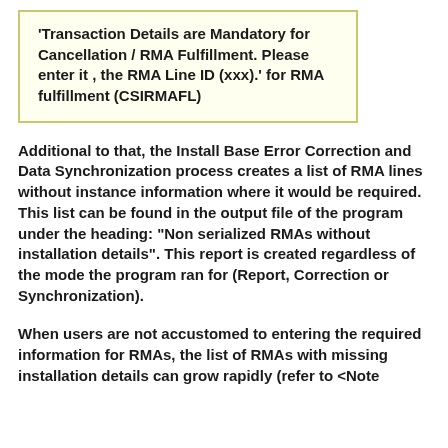'Transaction Details are Mandatory for Cancellation / RMA Fulfillment. Please enter it , the RMA Line ID (xxx).' for RMA fulfillment (CSIRMAFL)
Additional to that, the Install Base Error Correction and Data Synchronization process creates a list of RMA lines without instance information where it would be required. This list can be found in the output file of the program under the heading: "Non serialized RMAs without installation details". This report is created regardless of the mode the program ran for (Report, Correction or Synchronization).
When users are not accustomed to entering the required information for RMAs, the list of RMAs with missing installation details can grow rapidly (refer to <Note